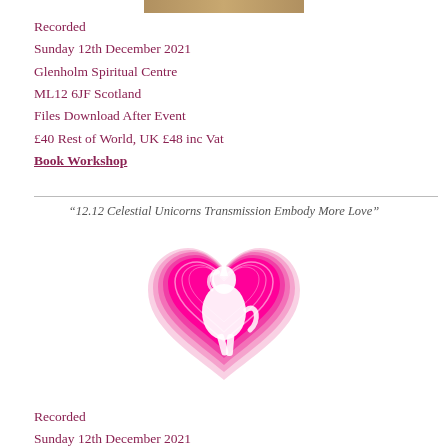[Figure (photo): Partial image at top of page (cropped photo)]
Recorded
Sunday 12th December 2021
Glenholm Spiritual Centre
ML12 6JF Scotland
Files Download After Event
£40 Rest of World, UK £48 inc Vat
Book Workshop
“12.12 Celestial Unicorns Transmission Embody More Love”
[Figure (illustration): Hot pink heart with a white unicorn rearing up, surrounded by concentric heart outlines in pink and white]
Recorded
Sunday 12th December 2021
Glenholm Spiritual Centre
ML12 6JF Scotland
Files Download After Event